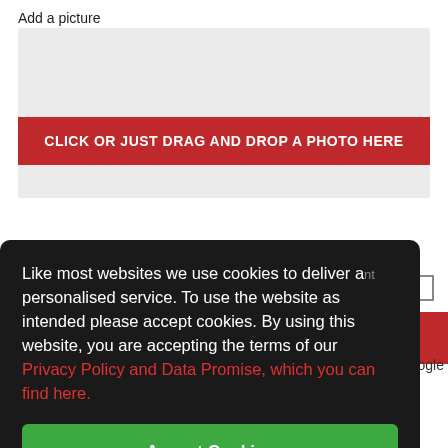Add a picture
[Figure (screenshot): Light grey upload area with a red 'CLICK OR JUST DRAG AND DROP A PHOTO HERE' button in the center]
Like most websites we use cookies to deliver a personalised service. To use the website as intended please accept cookies. By using this website, you are accepting the terms of our Privacy Policy and Data Promise, which you can find here.
Accept Cookies